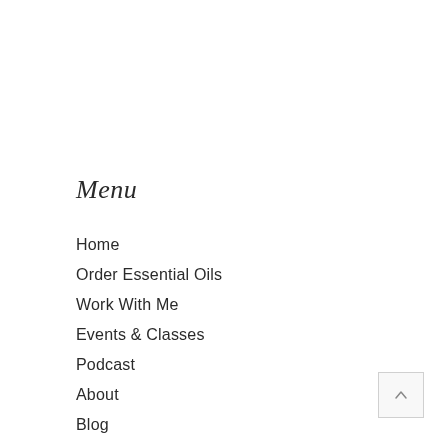Menu
Home
Order Essential Oils
Work With Me
Events & Classes
Podcast
About
Blog